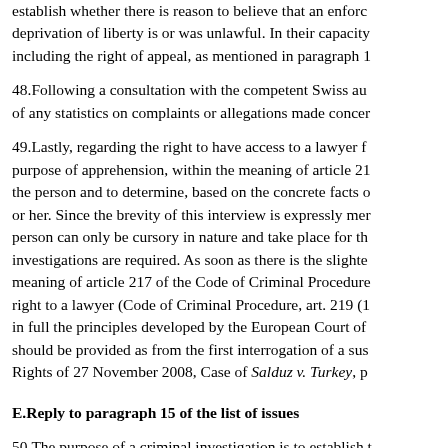establish whether there is reason to believe that an enforcement deprivation of liberty is or was unlawful. In their capacity including the right of appeal, as mentioned in paragraph 1
48.Following a consultation with the competent Swiss authorities of any statistics on complaints or allegations made concerning
49.Lastly, regarding the right to have access to a lawyer from the purpose of apprehension, within the meaning of article 21 the person and to determine, based on the concrete facts or her. Since the brevity of this interview is expressly mentioned, person can only be cursory in nature and take place for the investigations are required. As soon as there is the slightest meaning of article 217 of the Code of Criminal Procedure, right to a lawyer (Code of Criminal Procedure, art. 219 (1)) in full the principles developed by the European Court of should be provided as from the first interrogation of a suspect Rights of 27 November 2008, Case of Salduz v. Turkey, p
E.Reply to paragraph 15 of the list of issues
50.The purpose of a criminal investigation is to establish the communicated to close friends or relatives if there is a reason to disappear (for example, when a search has yet to take place information, like deprivation of liberty itself, is a coercive